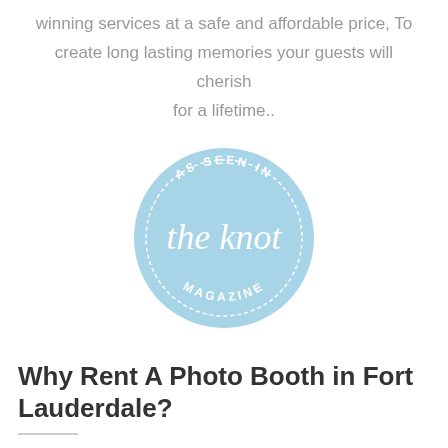winning services at a safe and affordable price, To create long lasting memories your guests will cherish for a lifetime..
[Figure (logo): Circular light blue badge reading 'AS SEEN IN the knot MAGAZINE']
Why Rent A Photo Booth in Fort Lauderdale?
By renting our affordable photo booth in Fort Lauderdale, Florida you can instantly add some